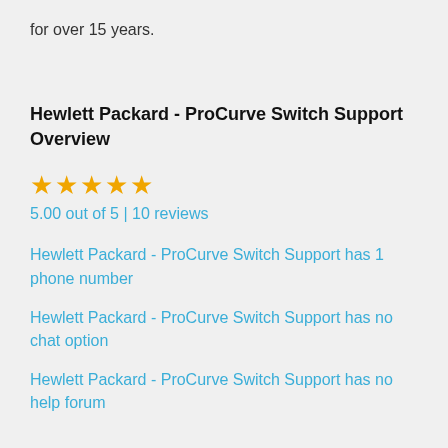for over 15 years.
Hewlett Packard - ProCurve Switch Support Overview
5.00 out of 5 | 10 reviews
Hewlett Packard - ProCurve Switch Support has 1 phone number
Hewlett Packard - ProCurve Switch Support has no chat option
Hewlett Packard - ProCurve Switch Support has no help forum